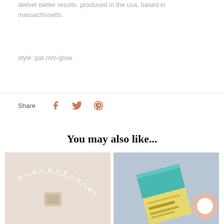deliver better results. produced in the usa, based in massachusetts.
style: pat mm-glow
Share
[Figure (screenshot): Social share icons: Facebook, Twitter, Pinterest in terracotta/salmon color]
You may also like...
[Figure (photo): Product photo: beaded necklace/jewelry on beige background]
[Figure (photo): Product photo: Illuminate/Illuminateur beauty product box on blue-grey background with chat bubble icon]